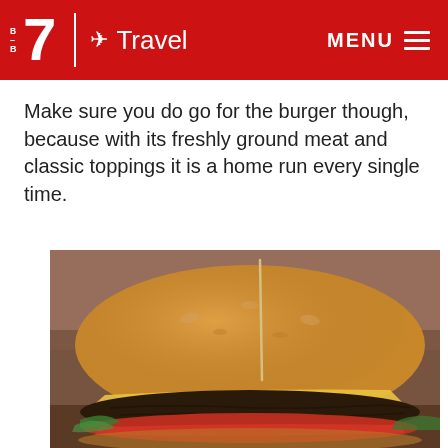B·7 | ✈ Travel   MENU
Make sure you do go for the burger though, because with its freshly ground meat and classic toppings it is a home run every single time.
[Figure (photo): Close-up photo of a cheeseburger with a toothpick through the top bun, showing melted cheese, beef patty, and tomato on a wooden surface background.]